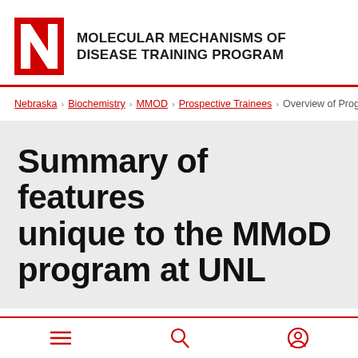COVID-19
[Figure (logo): University of Nebraska red N block logo]
MOLECULAR MECHANISMS OF DISEASE TRAINING PROGRAM
Nebraska > Biochemistry > MMOD > Prospective Trainees > Overview of Program
Summary of features unique to the MMoD program at UNL
Research rotations: All students entering the MMoD program are supported for rotations.